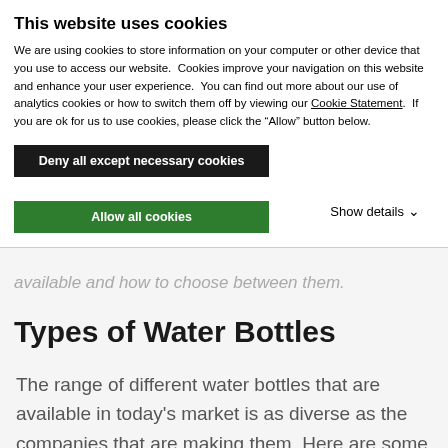This website uses cookies
We are using cookies to store information on your computer or other device that you use to access our website.  Cookies improve your navigation on this website and enhance your user experience.  You can find out more about our use of analytics cookies or how to switch them off by viewing our Cookie Statement.  If you are ok for us to use cookies, please click the “Allow” button below.
Deny all except necessary cookies
Allow all cookies
Show details ⌄
available and how to choose between them.
Types of Water Bottles
The range of different water bottles that are available in today’s market is as diverse as the companies that are making them. Here are some of the dependable bottles that are available